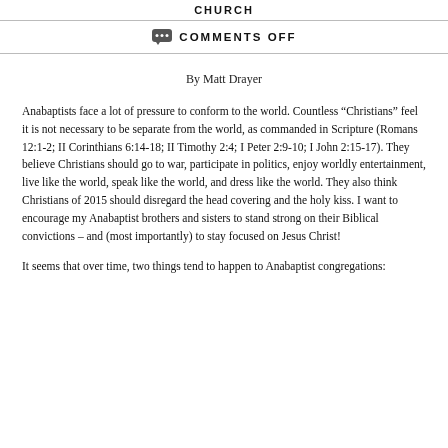CHURCH
COMMENTS OFF
By Matt Drayer
Anabaptists face a lot of pressure to conform to the world.  Countless “Christians” feel it is not necessary to be separate from the world, as commanded in Scripture (Romans 12:1-2; II Corinthians 6:14-18; II Timothy 2:4; I Peter 2:9-10; I John 2:15-17).  They believe Christians should go to war, participate in politics, enjoy worldly entertainment, live like the world, speak like the world, and dress like the world.  They also think Christians of 2015 should disregard the head covering and the holy kiss.  I want to encourage my Anabaptist brothers and sisters to stand strong on their Biblical convictions – and (most importantly) to stay focused on Jesus Christ!
It seems that over time, two things tend to happen to Anabaptist congregations: